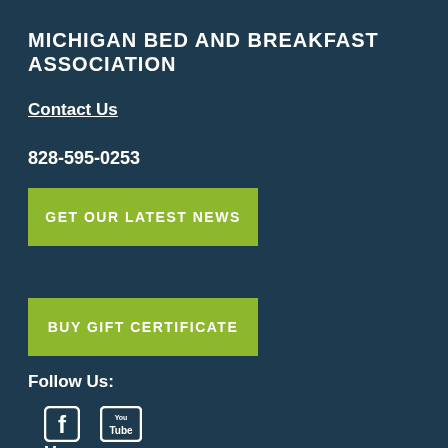MICHIGAN BED AND BREAKFAST ASSOCIATION
Contact Us
828-595-0253
GET OUR LATEST NEWS
BUY GIFT CERTIFICATE
Follow Us:
[Figure (logo): Facebook icon and YouTube icon]
Home